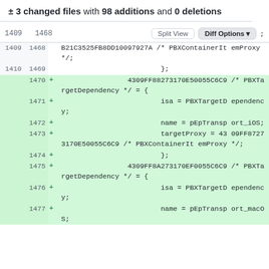± 3 changed files with 98 additions and 0 deletions
[Figure (screenshot): Code diff view showing lines 1409-1477 of a file, with added lines (1470-1477) highlighted in green showing PBXTargetDependency entries]
1409 1468 B21C3525FB8DD10097927A /* PBXContainerItemProxy */;
1410 1469 };
1470 + 4309FF88273170E50055C6C9 /* PBXTargetDependency */ = {
1471 + isa = PBXTargetDependency;
1472 + name = pEpTransport_iOS;
1473 + targetProxy = 4309FF8727317 0E50055C6C9 /* PBXContainerItemProxy */;
1474 + };
1475 + 4309FF8A273170EF0055C6C9 /* PBXTargetDependency */ = {
1476 + isa = PBXTargetDependency;
1477 + name = pEpTransport_macOS;